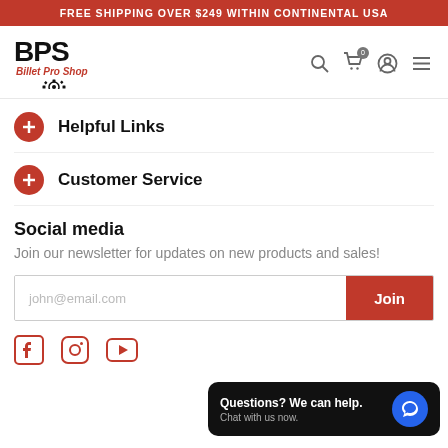FREE SHIPPING OVER $249 WITHIN CONTINENTAL USA
[Figure (logo): BPS Billet Pro Shop logo with gear icon]
Helpful Links
Customer Service
Social media
Join our newsletter for updates on new products and sales!
john@email.com [email input] Join [button]
[Figure (illustration): Social media icons: Facebook, Instagram, YouTube]
Questions? We can help. Chat with us now.